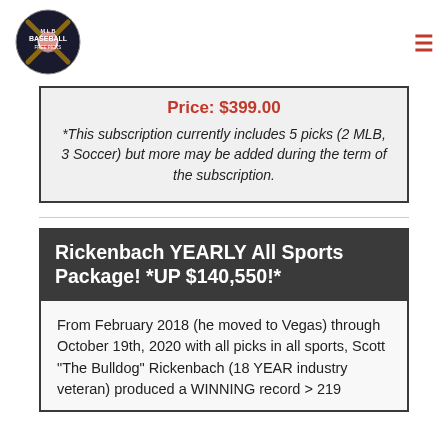[Figure (logo): MLB Baseball Free Picks logo with crossed bats and baseball graphic]
Price: $399.00
*This subscription currently includes 5 picks (2 MLB, 3 Soccer) but more may be added during the term of the subscription.
Rickenbach YEARLY All Sports Package! *UP $140,550!*
From February 2018 (he moved to Vegas) through October 19th, 2020 with all picks in all sports, Scott "The Bulldog" Rickenbach (18 YEAR industry veteran) produced a WINNING record > 210...